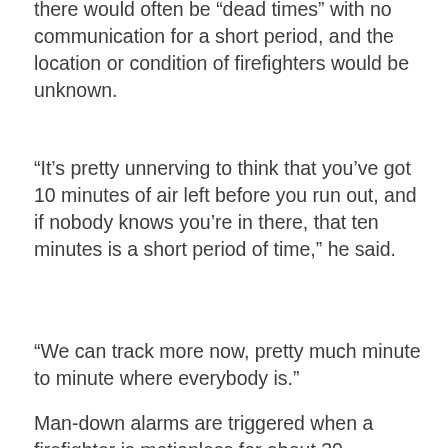there would often be “dead times” with no communication for a short period, and the location or condition of firefighters would be unknown.
“It’s pretty unnerving to think that you’ve got 10 minutes of air left before you run out, and if nobody knows you’re in there, that ten minutes is a short period of time,” he said.
“We can track more now, pretty much minute to minute where everybody is.”
Man-down alarms are triggered when a firefighter is motionless for about 30 seconds, sending an automatic alert to the command unit’s laptop. A firefighter can also manually trigger the alert if they have been injured but are